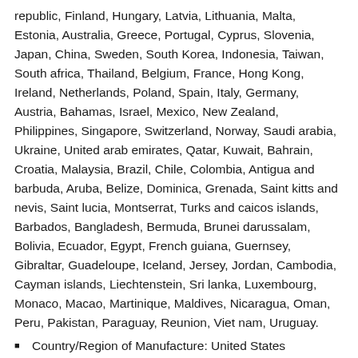republic, Finland, Hungary, Latvia, Lithuania, Malta, Estonia, Australia, Greece, Portugal, Cyprus, Slovenia, Japan, China, Sweden, South Korea, Indonesia, Taiwan, South africa, Thailand, Belgium, France, Hong Kong, Ireland, Netherlands, Poland, Spain, Italy, Germany, Austria, Bahamas, Israel, Mexico, New Zealand, Philippines, Singapore, Switzerland, Norway, Saudi arabia, Ukraine, United arab emirates, Qatar, Kuwait, Bahrain, Croatia, Malaysia, Brazil, Chile, Colombia, Antigua and barbuda, Aruba, Belize, Dominica, Grenada, Saint kitts and nevis, Saint lucia, Montserrat, Turks and caicos islands, Barbados, Bangladesh, Bermuda, Brunei darussalam, Bolivia, Ecuador, Egypt, French guiana, Guernsey, Gibraltar, Guadeloupe, Iceland, Jersey, Jordan, Cambodia, Cayman islands, Liechtenstein, Sri lanka, Luxembourg, Monaco, Macao, Martinique, Maldives, Nicaragua, Oman, Peru, Pakistan, Paraguay, Reunion, Viet nam, Uruguay.
Country/Region of Manufacture: United States
Certification Number: 6272207-009
Certification: NGC
Mint Location: San Francisco
Grade: MS 65